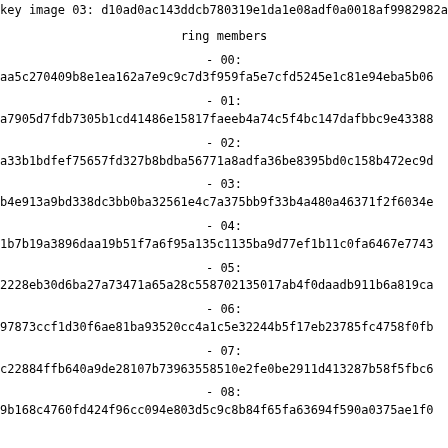key image 03: d10ad0ac143ddcb780319e1da1e08adf0a0018af9982982a
ring members
- 00:
aa5c270409b8e1ea162a7e9c9c7d3f959fa5e7cfd5245e1c81e94eba5b06
- 01:
a7905d7fdb7305b1cd41486e15817faeeb4a74c5f4bc147dafbbc9e43388
- 02:
a33b1bdfef75657fd327b8bdba56771a8adfa36be8395bd0c158b472ec9d
- 03:
b4e913a9bd338dc3bb0ba32561e4c7a375bb9f33b4a480a46371f2f6034e
- 04:
1b7b19a3896daa19b51f7a6f95a135c1135ba9d77ef1b11c0fa6467e7743
- 05:
2228eb30d6ba27a73471a65a28c558702135017ab4f0daadb911b6a819ca
- 06:
97873ccf1d30f6ae81ba93520cc4a1c5e32244b5f17eb23785fc4758f0fb
- 07:
c22884ffb640a9de28107b73963558510e2fe0be2911d413287b58f5fbc6
- 08:
9b168c4760fd424f96cc094e803d5c9c8b84f65fa63694f590a0375ae1f0